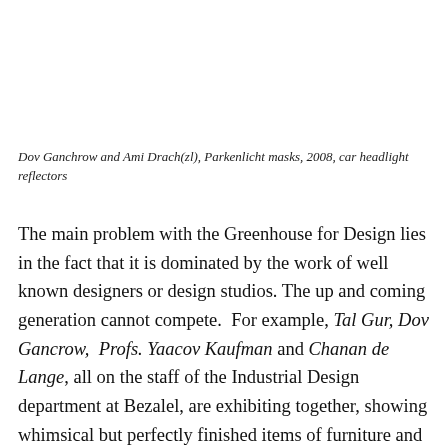Dov Ganchrow and Ami Drach(zl), Parkenlicht masks, 2008, car headlight reflectors
The main problem with the Greenhouse for Design lies in the fact that it is dominated by the work of well known designers or design studios. The up and coming generation cannot compete.  For example, Tal Gur, Dov Gancrow,  Profs. Yaacov Kaufman and Chanan de Lange, all on the staff of the Industrial Design department at Bezalel, are exhibiting together, showing whimsical but perfectly finished items of furniture and light fitments. The sophistication of their designs, like those on display by other experienced designers, overshadows the offerings of the less experienced group